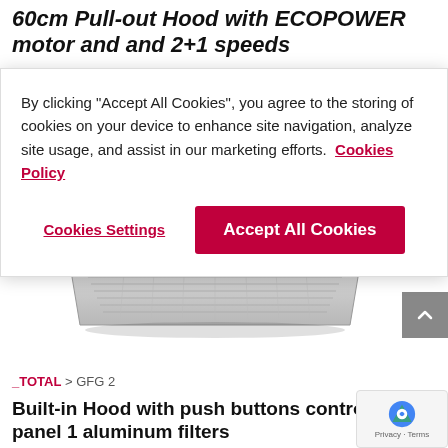60cm Pull-out Hood with ECOPOWER motor and and 2+1 speeds
By clicking “Accept All Cookies”, you agree to the storing of cookies on your device to enhance site navigation, analyze site usage, and assist in our marketing efforts.  Cookies Policy
Cookies Settings
Accept All Cookies
[Figure (photo): Built-in range hood / pull-out hood product photo showing a stainless steel ceiling-mounted extractor with grille filter]
_TOTAL > GFG 2
Built-in Hood with push buttons control panel 1 aluminum filters